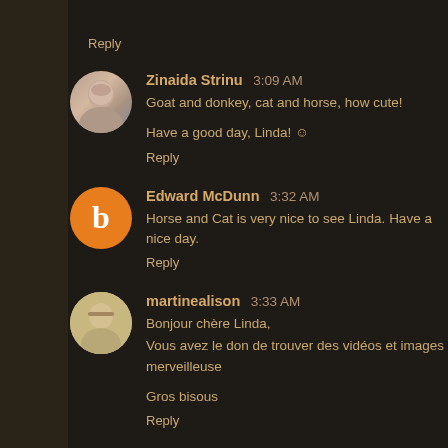Reply
Zinaida Strinu 3:09 AM
Goat and donkey, cat and horse, how cute!
Have a good day, Linda! ☺
Reply
Edward McDunn 3:32 AM
Horse and Cat is very nice to see Linda. Have a nice day.
Reply
martinealison 3:33 AM
Bonjour chère Linda,
Vous avez le don de trouver des vidéos et images merveilleuse
Gros bisous
Reply